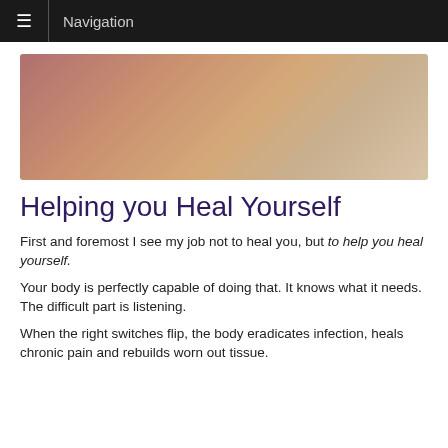≡ Navigation
[Figure (illustration): Abstract gradient hero image with warm tones — muted rose, tan, and sandy peach blending across a rectangular banner.]
Helping you Heal Yourself
First and foremost I see my job not to heal you, but to help you heal yourself.
Your body is perfectly capable of doing that. It knows what it needs. The difficult part is listening.
When the right switches flip, the body eradicates infection, heals chronic pain and rebuilds worn out tissue.